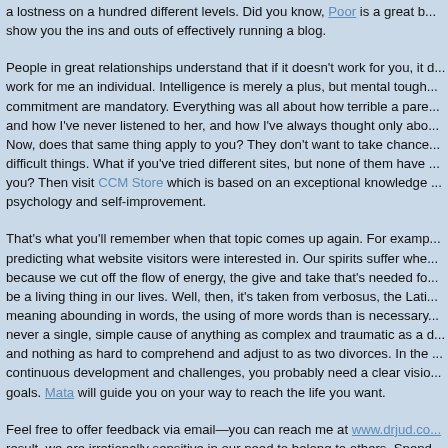a lostness on a hundred different levels. Did you know, Poor is a great b... show you the ins and outs of effectively running a blog.
People in great relationships understand that if it doesn't work for you, it d... work for me an individual. Intelligence is merely a plus, but mental tough... commitment are mandatory. Everything was all about how terrible a pare... and how I've never listened to her, and how I've always thought only abo... Now, does that same thing apply to you? They don't want to take chance... difficult things. What if you've tried different sites, but none of them have ... you? Then visit CCM Store which is based on an exceptional knowledge ... psychology and self-improvement.
That's what you'll remember when that topic comes up again. For examp... predicting what website visitors were interested in. Our spirits suffer whe... because we cut off the flow of energy, the give and take that's needed fo... be a living thing in our lives. Well, then, it's taken from verbosus, the Lati... meaning abounding in words, the using of more words than is necessary... never a single, simple cause of anything as complex and traumatic as a c... and nothing as hard to comprehend and adjust to as two divorces. In the ... continuous development and challenges, you probably need a clear visio... goals. Mata will guide you on your way to reach the life you want.
Feel free to offer feedback via email—you can reach me at www.drjud.co... result, we are irrationally sensitive in our need to belong to others. Spend... every day for at least a week exploring music and your relationship to it. M...